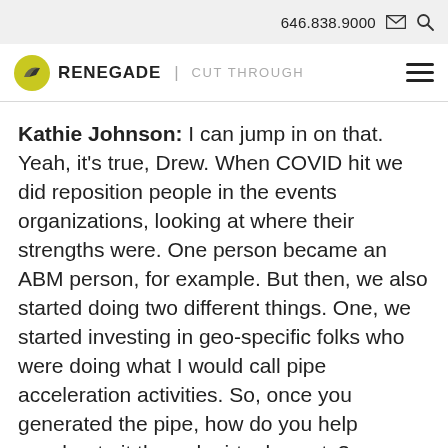646.838.9000
[Figure (logo): Renegade | Cut Through logo with yellow circle icon]
Kathie Johnson: I can jump in on that. Yeah, it’s true, Drew. When COVID hit we did reposition people in the events organizations, looking at where their strengths were. One person became an ABM person, for example. But then, we also started doing two different things. One, we started investing in geo-specific folks who were doing what I would call pipe acceleration activities. So, once you generated the pipe, how do you help accelerate it through virtual events?
Then really, our Live events come back the end of June. Big question mark, will it really